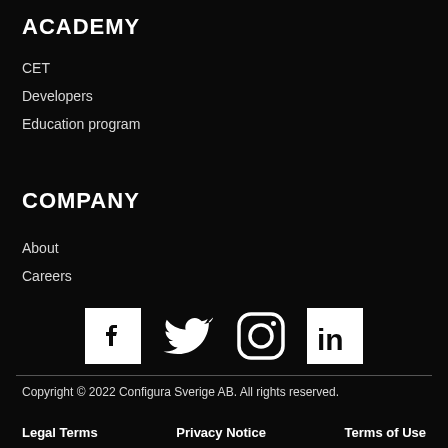ACADEMY
CET
Developers
Education program
COMPANY
About
Careers
[Figure (other): Social media icons: Facebook, Twitter, Instagram, LinkedIn]
Copyright © 2022 Configura Sverige AB. All rights reserved.
Legal Terms   Privacy Notice   Terms of Use